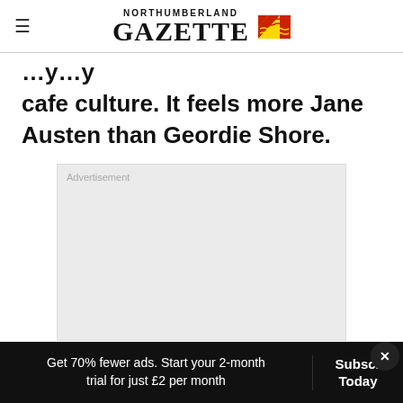NORTHUMBERLAND GAZETTE
cafe culture. It feels more Jane Austen than Geordie Shore.
[Figure (other): Advertisement placeholder box with grey background]
Get 70% fewer ads. Start your 2-month trial for just £2 per month
Subscribe Today